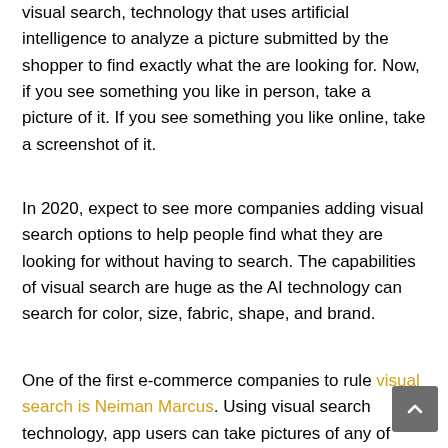visual search, technology that uses artificial intelligence to analyze a picture submitted by the shopper to find exactly what the are looking for. Now, if you see something you like in person, take a picture of it. If you see something you like online, take a screenshot of it.
In 2020, expect to see more companies adding visual search options to help people find what they are looking for without having to search. The capabilities of visual search are huge as the AI technology can search for color, size, fabric, shape, and brand.
One of the first e-commerce companies to rule visual search is Neiman Marcus. Using visual search technology, app users can take pictures of any of in the real world and if Neiman Marcus sells a similar